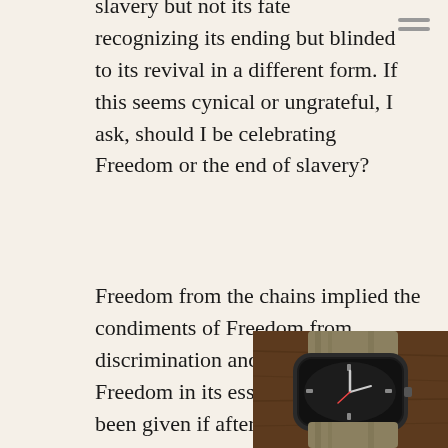slavery but not its fate recognizing its ending but blinded to its revival in a different form. If this seems cynical or ungrateful, I ask, should I be celebrating Freedom or the end of slavery?
Freedom from the chains implied the condiments of Freedom from discrimination and suppression. Freedom in its essence could not have been given if after a century and almost three score long fight still not received by now. Again, slavery ends but Freedom does not begin. So there goes that delay again.
As the handler of the sword, the wielder is impervious from the damage of the blade. While those who are cut continue to cry out where is the relief, the Freedom fr...
[Figure (photo): A close-up photo of a vintage diver's wristwatch with a dark dial and NATO-style olive/tan fabric strap, resting on a wooden surface.]